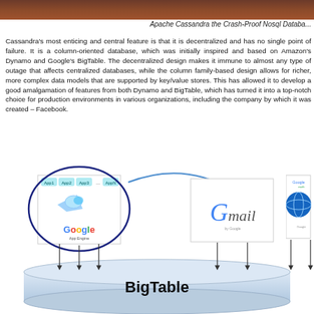Apache Cassandra the Crash-Proof Nosql Database
Cassandra's most enticing and central feature is that it is decentralized and has no single point of failure. It is a column-oriented database, which was initially inspired and based on Amazon's Dynamo and Google's BigTable. The decentralized design makes it immune to almost any type of outage that affects centralized databases, while the column family-based design allows for richer, more complex data models than those supported by key/value stores. This has allowed it to develop a good amalgamation of features from both Dynamo and BigTable, which has turned it into a top-notch choice for production environments in various organizations, including the company by which it was created – Facebook.
[Figure (infographic): Diagram showing BigTable architecture with Google App Engine, Gmail, Google Earth, and other apps (App1, App2, App3, ..., AppN) connected via arrows to a BigTable data store at the bottom. Google App Engine is circled in blue.]